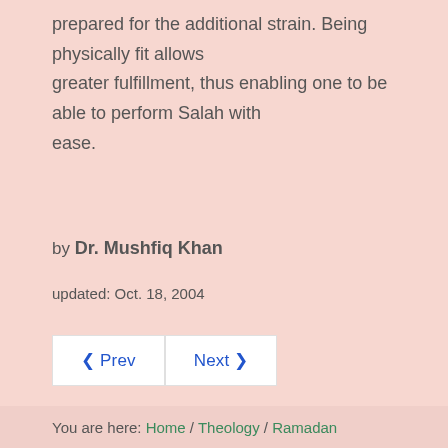prepared for the additional strain. Being physically fit allows greater fulfillment, thus enabling one to be able to perform Salah with ease.
by Dr. Mushfiq Khan
updated: Oct. 18, 2004
◀ Prev   Next ▶
You are here: Home / Theology / Ramadan